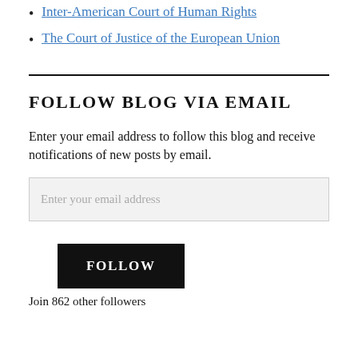Inter-American Court of Human Rights
The Court of Justice of the European Union
FOLLOW BLOG VIA EMAIL
Enter your email address to follow this blog and receive notifications of new posts by email.
Enter your email address
FOLLOW
Join 862 other followers